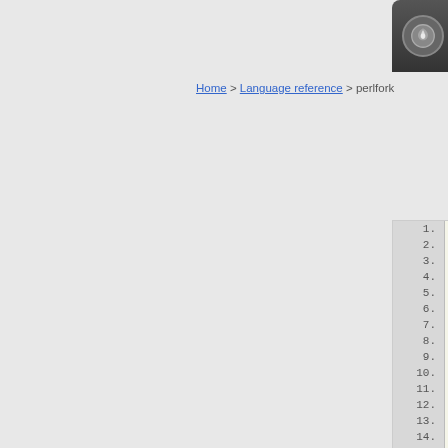perlfork — Perl 5 version 12.5 documentation
Home > Language reference > perlfork
[Figure (screenshot): Syntax-highlighted Perl code listing lines 1–21, showing a pipe_to_fork subroutine and usage with if/else blocks. Line numbers in grey gutter on left, code on beige background.]